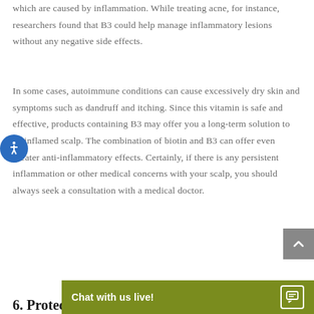which are caused by inflammation. While treating acne, for instance, researchers found that B3 could help manage inflammatory lesions without any negative side effects.
In some cases, autoimmune conditions can cause excessively dry skin and symptoms such as dandruff and itching. Since this vitamin is safe and effective, products containing B3 may offer you a long-term solution to an inflamed scalp. The combination of biotin and B3 can offer even greater anti-inflammatory effects. Certainly, if there is any persistent inflammation or other medical concerns with your scalp, you should always seek a consultation with a medical doctor.
6. Protects...